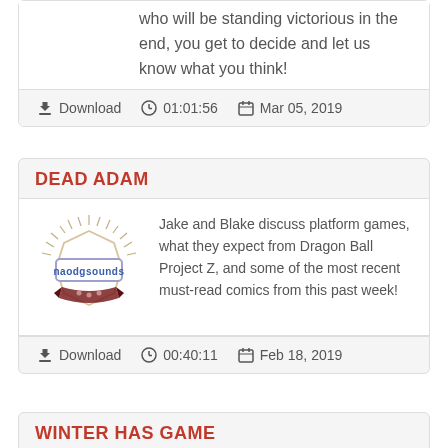who will be standing victorious in the end, you get to decide and let us know what you think!
Download  01:01:56  Mar 05, 2019
DEAD ADAM
Jake and Blake discuss platform games, what they expect from Dragon Ball Project Z, and some of the most recent must-read comics from this past week!
Download  00:40:11  Feb 18, 2019
WINTER HAS GAME